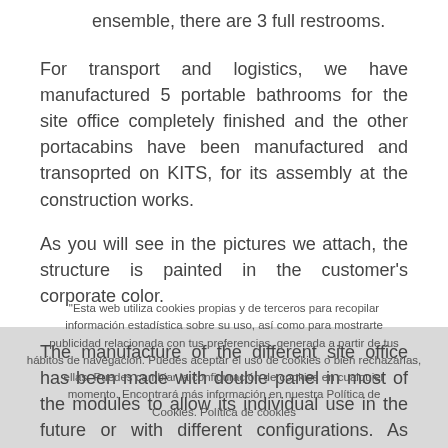ensemble, there are 3 full restrooms.
For transport and logistics, we have manufactured 5 portable bathrooms for the site office completely finished and the other portacabins have been manufactured and transoprted on KITS, for its assembly at the construction works.
As you will see in the pictures we attach, the structure is painted in the customer’s corporate color.
The manufacture of the different site office has been made with double panel in most of the modules to allow its individual use in the future or with different configurations. As permanent or temporal works infrastrutcture, portacabin construction camps are the best option for easy assembly solutions.
The insulation of walls and windows can be adapted in